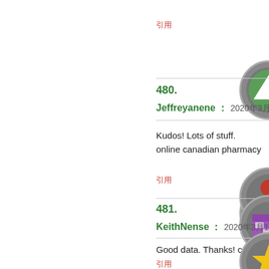引用
[Figure (illustration): Dark circular icon with green up-arrow triangle button]
480.
Jeffreyanene : 2020年3月16日 AM 08:
[Figure (illustration): Dark circular icon with white house/home symbol]
Kudos! Lots of stuff.
online canadian pharmacy
引用
[Figure (illustration): Dark circular icon with red person/user silhouette]
481.
KeithNense : 2020年3月16日 AM 08:1
[Figure (illustration): Dark circular icon with purple pharmacy/store building]
Good data. Thanks! canadian pharm
引用
[Figure (illustration): Dark circular icon with yellow star favorite/add symbol]